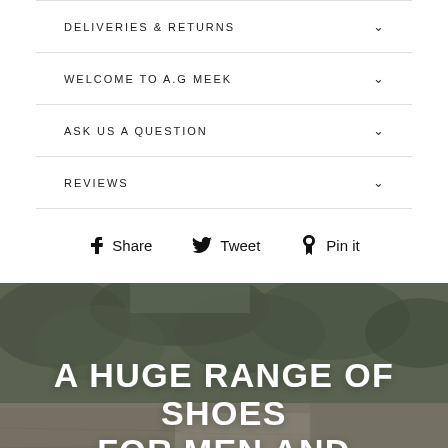DELIVERIES & RETURNS
WELCOME TO A.G MEEK
ASK US A QUESTION
REVIEWS
Share  Tweet  Pin it
[Figure (photo): Outdoor rocky/stone landscape with shrubs and greenery in background, overlaid with large white text reading 'A HUGE RANGE OF SHOES FOR MEN AND']